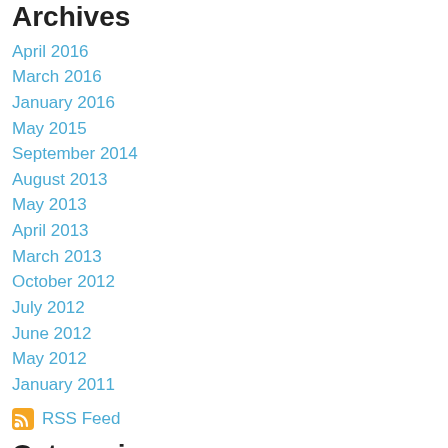Archives
April 2016
March 2016
January 2016
May 2015
September 2014
August 2013
May 2013
April 2013
March 2013
October 2012
July 2012
June 2012
May 2012
January 2011
RSS Feed
Categories
All
Beer Pairing Tour Oaxaca
Chocolate Truffles & Mezcal Combining